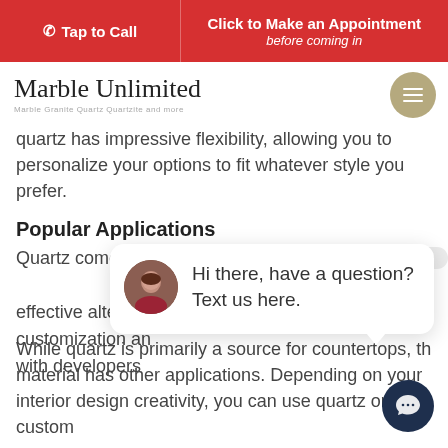Tap to Call | Click to Make an Appointment before coming in
[Figure (logo): Marble Unlimited cursive logo with tagline 'Marble Granite Quartz Quartzite and more']
quartz has impressive flexibility, allowing you to personalize your options to fit whatever style you prefer.
Popular Applications
Quartz comes in handy when you are looking for a cost-effective alternative... customization and... with developers and...
[Figure (screenshot): Chat popup with avatar photo of woman and text: Hi there, have a question? Text us here.]
While quartz is primarily a source for countertops, the material has other applications. Depending on your interior design creativity, you can use quartz on custom